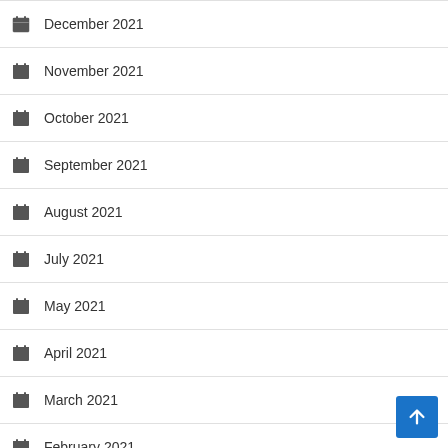December 2021
November 2021
October 2021
September 2021
August 2021
July 2021
May 2021
April 2021
March 2021
February 2021
December 2020
November 2020
May 2020